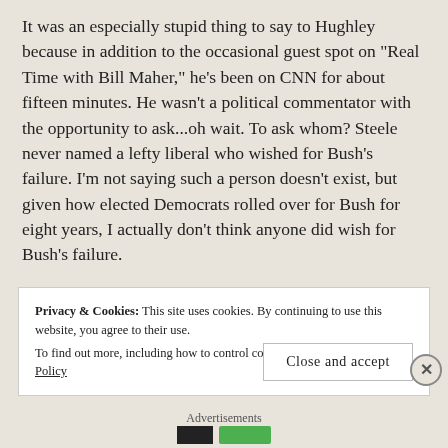It was an especially stupid thing to say to Hughley because in addition to the occasional guest spot on "Real Time with Bill Maher," he's been on CNN for about fifteen minutes. He wasn't a political commentator with the opportunity to ask...oh wait. To ask whom? Steele never named a lefty liberal who wished for Bush's failure. I'm not saying such a person doesn't exist, but given how elected Democrats rolled over for Bush for eight years, I actually don't think anyone did wish for Bush's failure.
Privacy & Cookies: This site uses cookies. By continuing to use this website, you agree to their use.
To find out more, including how to control cookies, see here: Cookie Policy
Close and accept
Advertisements